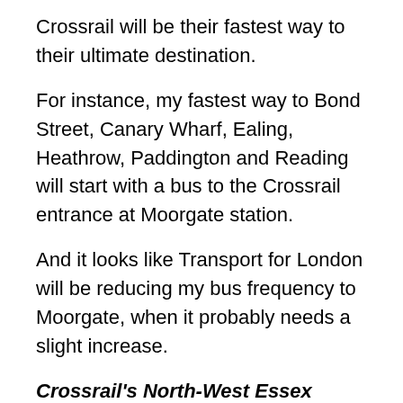Crossrail will be their fastest way to their ultimate destination.
For instance, my fastest way to Bond Street, Canary Wharf, Ealing, Heathrow, Paddington and Reading will start with a bus to the Crossrail entrance at Moorgate station.
And it looks like Transport for London will be reducing my bus frequency to Moorgate, when it probably needs a slight increase.
Crossrail's North-West Essex Extension
One of the elegant parts of Crossrail's design is its interchange with the Central Line at Stratford station.
The Eastbound Crossrail and Central Line platforms